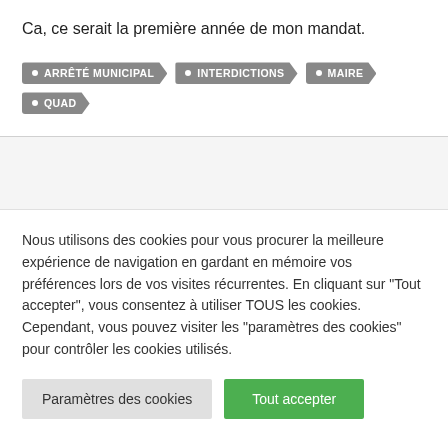Ca, ce serait la première année de mon mandat.
ARRÊTÉ MUNICIPAL
INTERDICTIONS
MAIRE
QUAD
Nous utilisons des cookies pour vous procurer la meilleure expérience de navigation en gardant en mémoire vos préférences lors de vos visites récurrentes. En cliquant sur "Tout accepter", vous consentez à utiliser TOUS les cookies. Cependant, vous pouvez visiter les "paramètres des cookies" pour contrôler les cookies utilisés.
Paramètres des cookies
Tout accepter